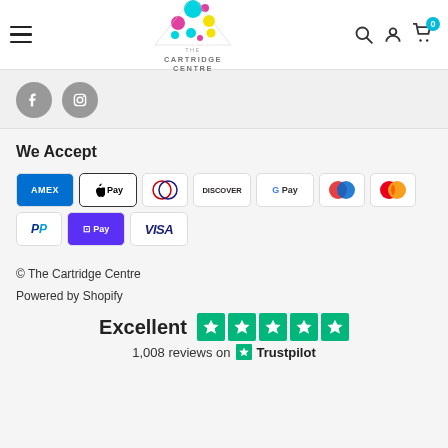[Figure (logo): The Cartridge Centre logo: colorful triangle made of circles (cyan, magenta, yellow) with text 'THE CARTRIDGE CENTRE' below]
[Figure (infographic): Navigation header with hamburger menu icon on left, Cartridge Centre logo center, search/account/cart icons on right with cart showing 0]
[Figure (infographic): Social media icons: Facebook and Instagram circular grey icons]
We Accept
[Figure (infographic): Payment method logos: AMEX, Apple Pay, Diners Club, Discover, Google Pay, Maestro, Mastercard, PayPal, Shop Pay, Visa]
© The Cartridge Centre
Powered by Shopify
[Figure (infographic): Trustpilot rating: Excellent with 5 green stars, 1,008 reviews on Trustpilot]